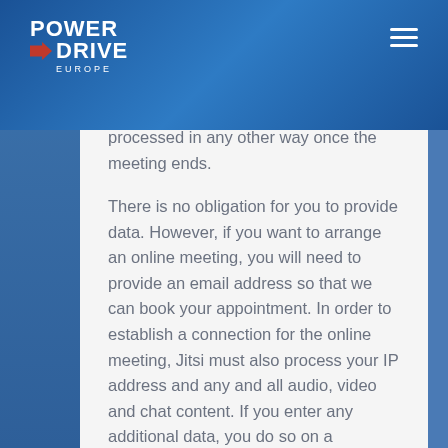POWER DRIVE EUROPE
processed in any other way once the meeting ends.
There is no obligation for you to provide data. However, if you want to arrange an online meeting, you will need to provide an email address so that we can book your appointment. In order to establish a connection for the online meeting, Jitsi must also process your IP address and any and all audio, video and chat content. If you enter any additional data, you do so on a voluntary basis.
16. Messenger (Login-Area)
In the login area you have the possibility to...